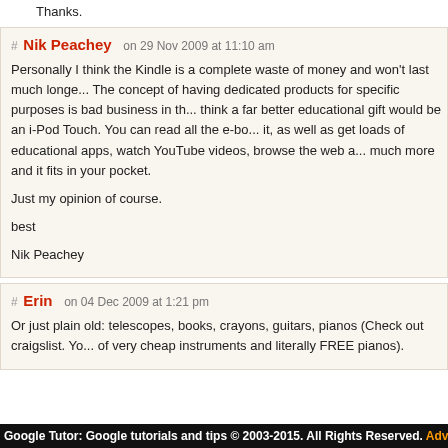Thanks.
# Nik Peachey   on 29 Nov 2009 at 11:10 am
Personally I think the Kindle is a complete waste of money and won't last much longe... The concept of having dedicated products for specific purposes is bad business in th... think a far better educational gift would be an i-Pod Touch. You can read all the e-bo... it, as well as get loads of educational apps, watch YouTube videos, browse the web a... much more and it fits in your pocket.

Just my opinion of course.

best

Nik Peachey
# Erin   on 04 Dec 2009 at 1:21 pm
Or just plain old: telescopes, books, crayons, guitars, pianos (Check out craigslist. Yo... of very cheap instruments and literally FREE pianos).
Google Tutor: Google tutorials and tips © 2003-2015. All Rights Reserved. Adv...